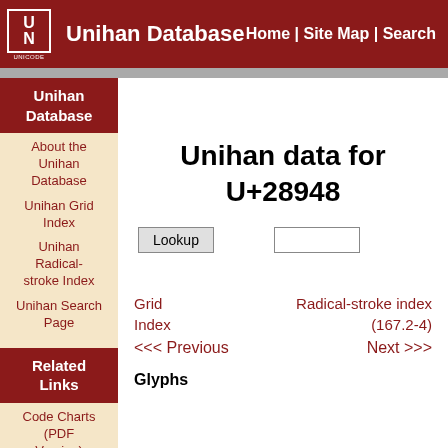Unihan Database | Home | Site Map | Search
Unihan Database
About the Unihan Database
Unihan Grid Index
Unihan Radical-stroke Index
Unihan Search Page
Related Links
Code Charts (PDF Version)
Unicode Character Names Index
Unihan data for U+28948
Lookup
Grid Index    Radical-stroke index (167.2-4)
<<< Previous    Next >>>
Glyphs